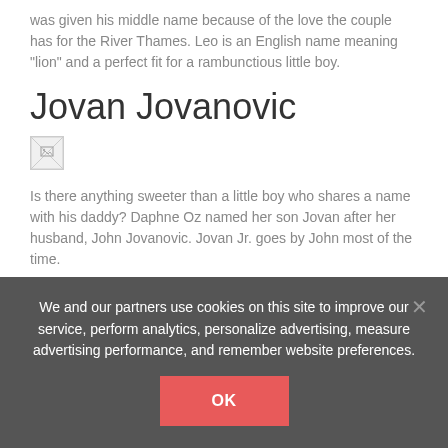was given his middle name because of the love the couple has for the River Thames. Leo is an English name meaning "lion" and a perfect fit for a rambunctious little boy.
Jovan Jovanovic
[Figure (photo): Broken/missing image placeholder]
Is there anything sweeter than a little boy who shares a name with his daddy? Daphne Oz named her son Jovan after her husband, John Jovanovic. Jovan Jr. goes by John most of the time.
Lawson & Lillian Nail
[Figure (photo): Broken/missing image placeholder]
We and our partners use cookies on this site to improve our service, perform analytics, personalize advertising, measure advertising performance, and remember website preferences.